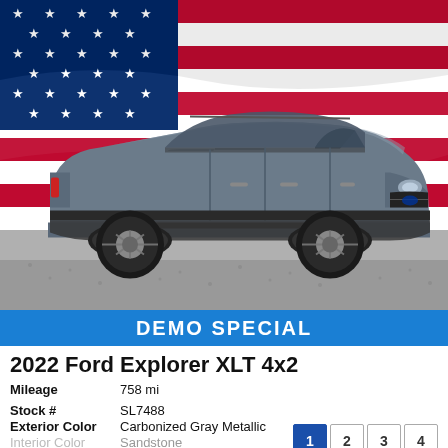[Figure (photo): 2022 Ford Explorer XLT 4x2 in Carbonized Gray Metallic shown in profile/side view against a waving American flag background. The SUV is parked on gravel.]
DEMO SPECIAL
2022 Ford Explorer XLT 4x2
Mileage   758 mi
Stock #   SL7488
Exterior Color   Carbonized Gray Metallic
Interior Color   Sandstone
Body   Sport Utility